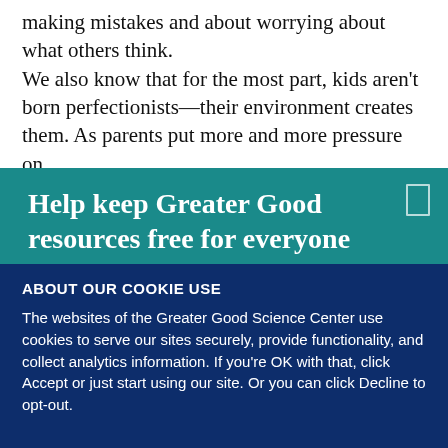making mistakes and about worrying about what others think. We also know that for the most part, kids aren't born perfectionists—their environment creates them. As parents put more and more pressure on
Help keep Greater Good resources free for everyone
ABOUT OUR COOKIE USE
The websites of the Greater Good Science Center use cookies to serve our sites securely, provide functionality, and collect analytics information. If you're OK with that, click Accept or just start using our site. Or you can click Decline to opt-out.
ACCEPT
DECLINE